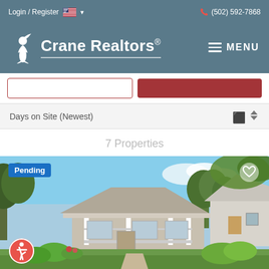Login / Register  (502) 592-7868
Crane Realtors®
Days on Site (Newest)
7 Properties
[Figure (photo): Exterior photo of a pending residential property — a bungalow-style house with white porch columns, surrounded by lush green trees and shrubbery. Pending badge and accessibility icon overlaid.]